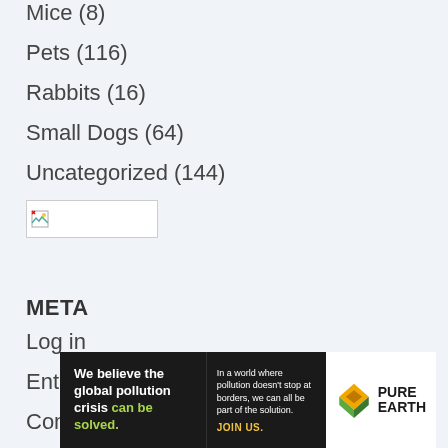Mice (8)
Pets (116)
Rabbits (16)
Small Dogs (64)
Uncategorized (144)
[Figure (other): Broken image placeholder - small icon with white background in a bordered box]
META
Log in
Entries feed
Comments feed
WordPress.org
[Figure (other): Pure Earth advertisement banner: black background with text 'We believe the global pollution crisis can be solved.' and 'In a world where pollution doesn't stop at borders, we can all be part of the solution. JOIN US.' with Pure Earth logo on white background]